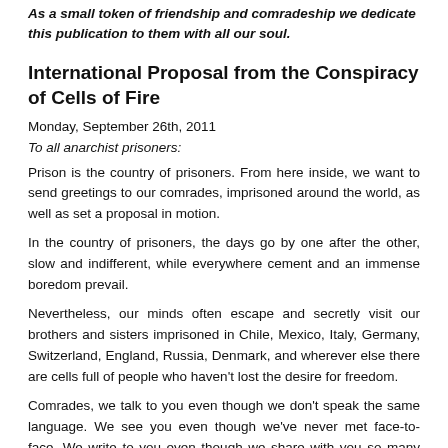As a small token of friendship and comradeship we dedicate this publication to them with all our soul.
International Proposal from the Conspiracy of Cells of Fire
Monday, September 26th, 2011
To all anarchist prisoners:
Prison is the country of prisoners. From here inside, we want to send greetings to our comrades, imprisoned around the world, as well as set a proposal in motion.
In the country of prisoners, the days go by one after the other, slow and indifferent, while everywhere cement and an immense boredom prevail.
Nevertheless, our minds often escape and secretly visit our brothers and sisters imprisoned in Chile, Mexico, Italy, Germany, Switzerland, England, Russia, Denmark, and wherever else there are cells full of people who haven't lost the desire for freedom.
Comrades, we talk to you even though we don't speak the same language. We see you even though we've never met face-to-face. We write to you even though we share with you so many the...